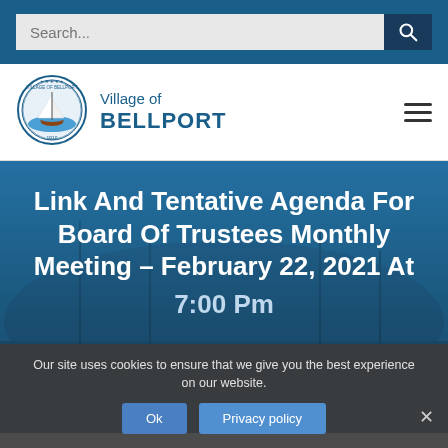Search...
[Figure (logo): Village of Bellport seal/logo — circular seal with sailboat]
Village of BELLPORT
Link And Tentative Agenda For Board Of Trustees Monthly Meeting – February 22, 2021 At 7:00 Pm
Our site uses cookies to ensure that we give you the best experience on our website.
Ok   Privacy policy